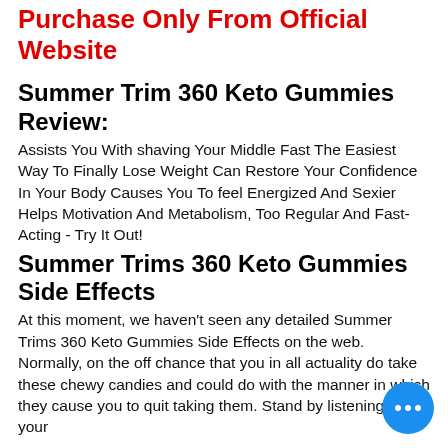Purchase Only From Official Website
Summer Trim 360 Keto Gummies Review:
Assists You With shaving Your Middle Fast The Easiest Way To Finally Lose Weight Can Restore Your Confidence In Your Body Causes You To feel Energized And Sexier Helps Motivation And Metabolism, Too Regular And Fast-Acting - Try It Out!
Summer Trims 360 Keto Gummies Side Effects
At this moment, we haven't seen any detailed Summer Trims 360 Keto Gummies Side Effects on the web. Normally, on the off chance that you in all actuality do take these chewy candies and could do with the manner in which they cause you to quit taking them. Stand by listening to your